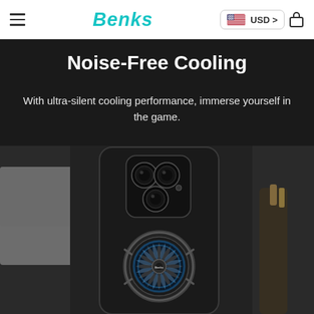Benks | USD
Noise-Free Cooling
With ultra-silent cooling performance, immerse yourself in the game.
[Figure (photo): Close-up photo of a black smartphone case with a circular cooling fan bearing the Benks logo, showing blue LED lighting on the fan blades. The camera module with three lenses is visible at the top of the phone. Background shows blurred objects including what appears to be a monitor and desk accessories.]